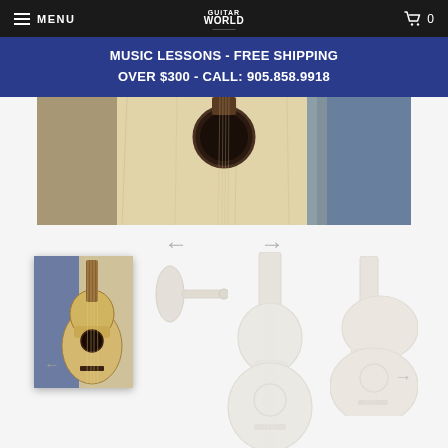MENU | Guitar World | 0
MUSIC LESSONS - FREE SHIPPING OVER $300 - CALL: 905.858.9918
[Figure (photo): Close-up photo of an acoustic guitar body and soundhole, showing wood grain and blue background]
[Figure (photo): Carousel navigation with left and right arrow buttons]
[Figure (photo): Thumbnail carousel showing multiple acoustic guitars: active thumbnail on left showing full guitar, faded side-view guitar, center faded full guitar, right faded partial guitar with right navigation arrow]